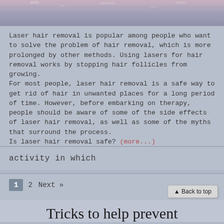[Figure (photo): Decorative top banner image with muted purple/blue tones, textured pattern]
Laser hair removal is popular among people who want to solve the problem of hair removal, which is more prolonged by other methods. Using lasers for hair removal works by stopping hair follicles from growing.
For most people, laser hair removal is a safe way to get rid of hair in unwanted places for a long period of time. However, before embarking on therapy, people should be aware of some of the side effects of laser hair removal, as well as some of the myths that surround the process.
Is laser hair removal safe? (more...)
activity in which
1   2   Next »
Tricks to help prevent